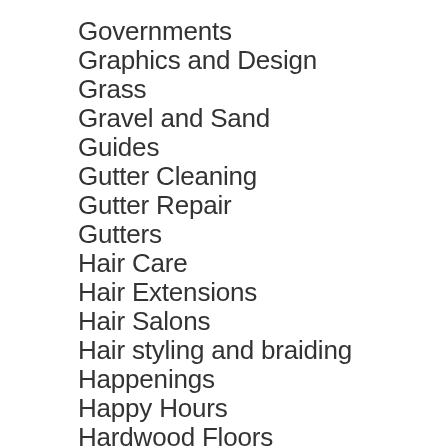Governments
Graphics and Design
Grass
Gravel and Sand
Guides
Gutter Cleaning
Gutter Repair
Gutters
Hair Care
Hair Extensions
Hair Salons
Hair styling and braiding
Happenings
Happy Hours
Hardwood Floors